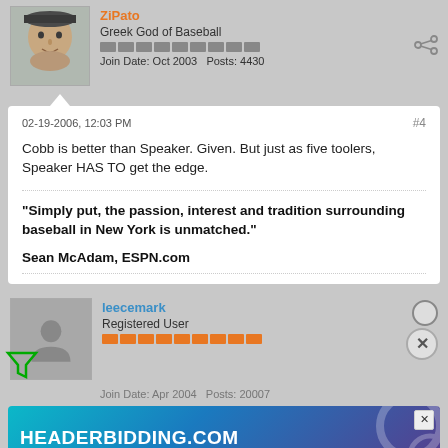[Figure (screenshot): Forum post screenshot showing two user posts. First post by 'ZiPato' (Greek God of Baseball, joined Oct 2003, 4430 posts) with post #4 dated 02-19-2006 12:03 PM. Post text discusses Cobb vs Speaker. Contains a bold quote about baseball in New York from Sean McAdam, ESPN.com. Second partial post by 'leecemark' (Registered User, joined Apr 2004) with an advertisement banner for HEADERBIDDING.COM overlaying it.]